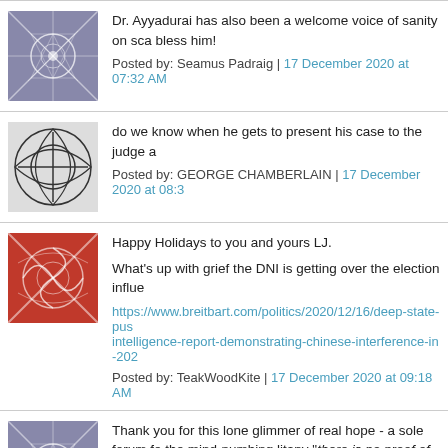Dr. Ayyadurai has also been a welcome voice of sanity on sca bless him!
Posted by: Seamus Padraig | 17 December 2020 at 07:32 AM
do we know when he gets to present his case to the judge a
Posted by: GEORGE CHAMBERLAIN | 17 December 2020 at 08:3
Happy Holidays to you and yours LJ.

What's up with grief the DNI is getting over the election influe

https://www.breitbart.com/politics/2020/12/16/deep-state-pus intelligence-report-demonstrating-chinese-interference-in-202
Posted by: TeakWoodKite | 17 December 2020 at 09:18 AM
Thank you for this lone glimmer of real hope - a sole forum fo the mind-numbing litany "there is no proof of voter fraud".
Posted by: Dean | 17 December 2020 at 11:24 AM